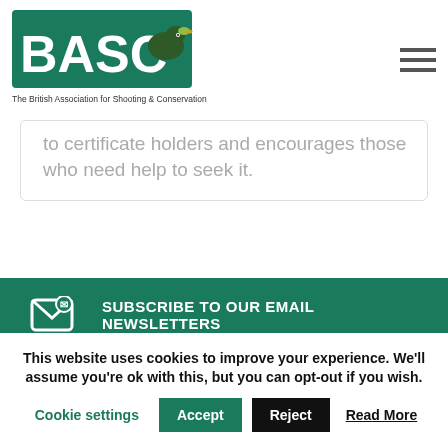[Figure (logo): BASC logo — The British Association for Shooting & Conservation with green duck head graphic]
to certificate holders and encourages those who need help to seek it.
SUBSCRIBE TO OUR EMAIL NEWSLETTERS
VISIT US ON FACEBOOK
FOLLOW @BASCNEWS
This website uses cookies to improve your experience. We'll assume you're ok with this, but you can opt-out if you wish.
Cookie settings  Accept  Reject  Read More